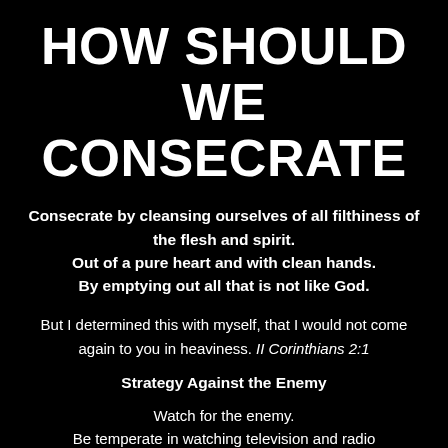HOW SHOULD WE CONSECRATE
Consecrate by cleansing ourselves of all filthiness of the flesh and spirit. Out of a pure heart and with clean hands. By emptying out all that is not like God.
But I determined this with myself, that I would not come again to you in heaviness. II Corinthians 2:1
Strategy Against the Enemy
Watch for the enemy. Be temperate in watching television and radio programming.